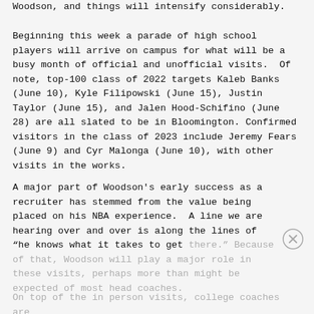Woodson, and things will intensify considerably.
Beginning this week a parade of high school players will arrive on campus for what will be a busy month of official and unofficial visits.  Of note, top-100 class of 2022 targets Kaleb Banks (June 10), Kyle Filipowski (June 15), Justin Taylor (June 15), and Jalen Hood-Schifino (June 28) are all slated to be in Bloomington. Confirmed visitors in the class of 2023 include Jeremy Fears (June 9) and Cyr Malonga (June 10), with other visits in the works.
A major part of Woodson's early success as a recruiter has stemmed from the value being placed on his NBA experience.  A line we are hearing over and over is along the lines of “he knows what it takes to get there.” Because of that, Woodson will play a major role in these visits, perhaps more than might be expected of most head coaches.
On top of the in person visits, college coaches are